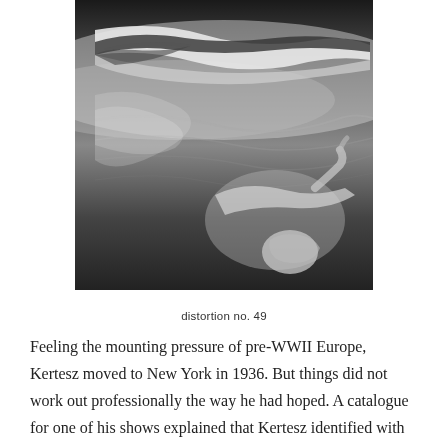[Figure (photo): Black and white distorted photograph showing elongated nude figures, one reclining on a surface and one reflected or distorted below, characteristic of Kertesz's Distortions series.]
distortion no. 49
Feeling the mounting pressure of pre-WWII Europe, Kertesz moved to New York in 1936. But things did not work out professionally the way he had hoped. A catalogue for one of his shows explained that Kertesz identified with the little cloud in this shot because “it